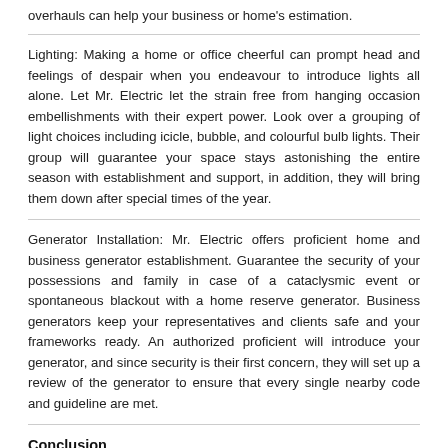overhauls can help your business or home's estimation.
Lighting: Making a home or office cheerful can prompt head and feelings of despair when you endeavour to introduce lights all alone. Let Mr. Electric let the strain free from hanging occasion embellishments with their expert power. Look over a grouping of light choices including icicle, bubble, and colourful bulb lights. Their group will guarantee your space stays astonishing the entire season with establishment and support, in addition, they will bring them down after special times of the year.
Generator Installation: Mr. Electric offers proficient home and business generator establishment. Guarantee the security of your possessions and family in case of a cataclysmic event or spontaneous blackout with a home reserve generator. Business generators keep your representatives and clients safe and your frameworks ready. An authorized proficient will introduce your generator, and since security is their first concern, they will set up a review of the generator to ensure that every single nearby code and guideline are met.
Conclusion
Is it true that you are prepared to get Neighbourly? Mr. Electric is